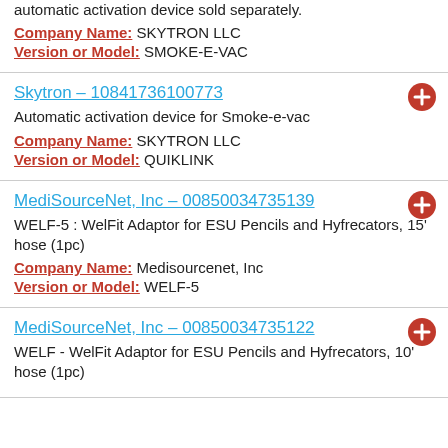automatic activation device sold separately.
Company Name: SKYTRON LLC
Version or Model: SMOKE-E-VAC
Skytron - 10841736100773
Automatic activation device for Smoke-e-vac
Company Name: SKYTRON LLC
Version or Model: QUIKLINK
MediSourceNet, Inc - 00850034735139
WELF-5 : WelFit Adaptor for ESU Pencils and Hyfrecators, 15' hose (1pc)
Company Name: Medisourcenet, Inc
Version or Model: WELF-5
MediSourceNet, Inc - 00850034735122
WELF - WelFit Adaptor for ESU Pencils and Hyfrecators, 10' hose (1pc)